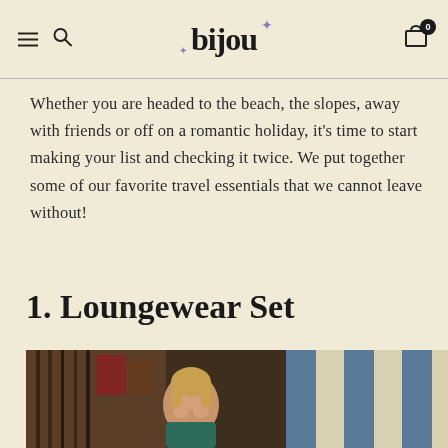bijou — navigation header with hamburger menu, search icon, logo, and cart (0)
Whether you are headed to the beach, the slopes, away with friends or off on a romantic holiday, it's time to start making your list and checking it twice. We put together some of our favorite travel essentials that we cannot leave without!
1. Loungewear Set
[Figure (photo): A woman with blonde bangs smiling, posed in front of decorative hanging items and a blue and cream striped wall/background]